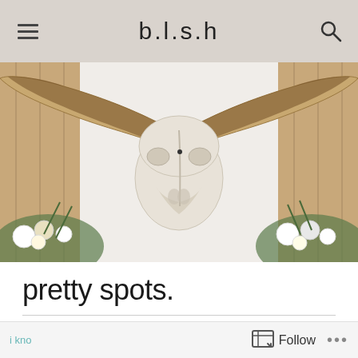b.l.s.h
[Figure (photo): A longhorn cattle skull mounted on a white wall, flanked by white and green floral arrangements, with wooden plank walls visible on the sides.]
pretty spots.
ON AUGUST 6, 2018 / BY BLSH
Follow